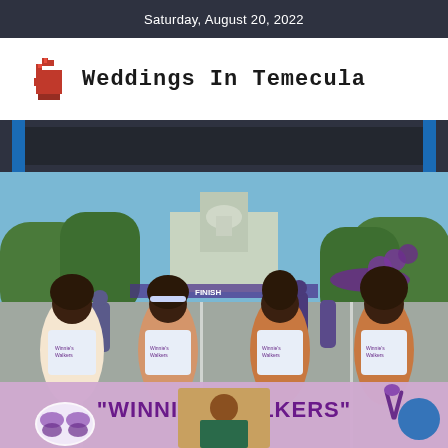Saturday, August 20, 2022
Weddings In Temecula
[Figure (photo): Dark banner/divider bar with blue vertical stripes on left and right sides]
[Figure (photo): Four women standing outdoors on a city street holding a banner reading 'WINNIE'S WALKERS'. They wear matching white t-shirts that say Winnie's Walkers. The banner also features a butterfly logo, a photo of a smiling elderly woman, and a purple ribbon. Purple balloon arch visible in background along with city buildings and trees.]